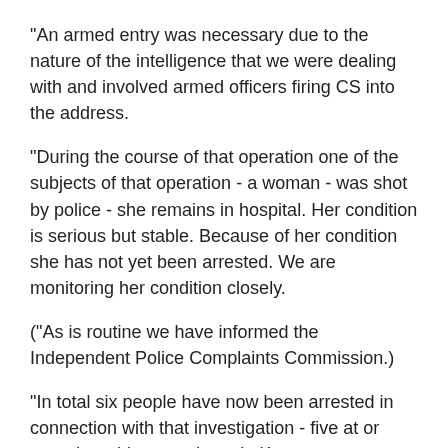"An armed entry was necessary due to the nature of the intelligence that we were dealing with and involved armed officers firing CS into the address.
"During the course of that operation one of the subjects of that operation - a woman - was shot by police - she remains in hospital. Her condition is serious but stable. Because of her condition she has not yet been arrested. We are monitoring her condition closely.
("As is routine we have informed the Independent Police Complaints Commission.)
"In total six people have now been arrested in connection with that investigation - five at or near the address and one in Kent.
"The two further arrests were made when a man and a woman - both aged 28 - returned to the address later last night.
"Searches are ongoing at three London addresses - including Harlesden Road - as part of this investigation. Due to these